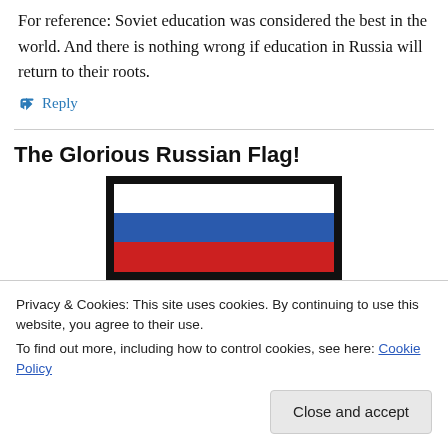For reference: Soviet education was considered the best in the world. And there is nothing wrong if education in Russia will return to their roots.
↪ Reply
The Glorious Russian Flag!
[Figure (illustration): Russian flag displayed inside a thick black border frame, showing three horizontal stripes: white, blue, and red.]
Privacy & Cookies: This site uses cookies. By continuing to use this website, you agree to their use.
To find out more, including how to control cookies, see here: Cookie Policy
[Close and accept button]